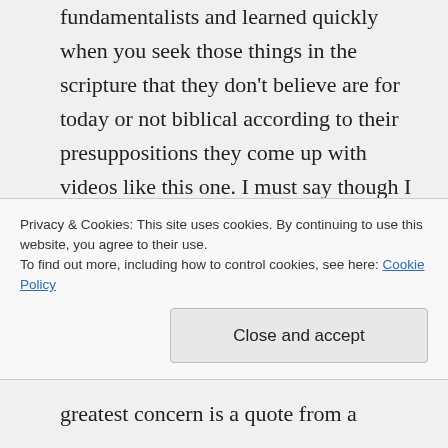fundamentalists and learned quickly when you seek those things in the scripture that they don't believe are for today or not biblical according to their presuppositions they come up with videos like this one. I must say though I don't teach manifestations or even expect them when they happen I watch and pray and on occasion enter in. I have devoted my life to being lead of Holy Spirit and have been trained by great men where these sort of
Privacy & Cookies: This site uses cookies. By continuing to use this website, you agree to their use.
To find out more, including how to control cookies, see here: Cookie Policy
Close and accept
greatest concern is a quote from a